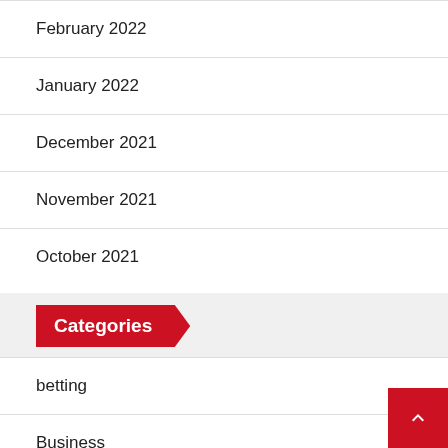February 2022
January 2022
December 2021
November 2021
October 2021
Categories
betting
Business